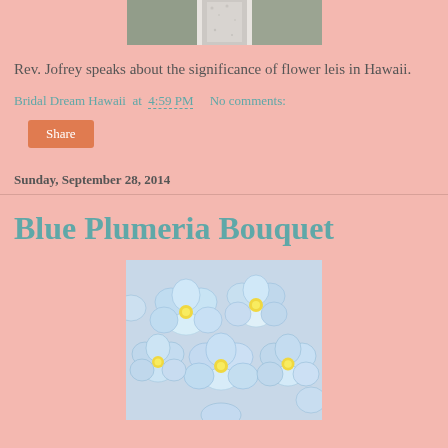[Figure (photo): Top portion of a photo showing what appears to be a person in white dress with greenery background]
Rev. Jofrey speaks about the significance of flower leis in Hawaii.
Bridal Dream Hawaii at 4:59 PM   No comments:
Share
Sunday, September 28, 2014
Blue Plumeria Bouquet
[Figure (photo): Blue and white plumeria flowers arranged in a bouquet]